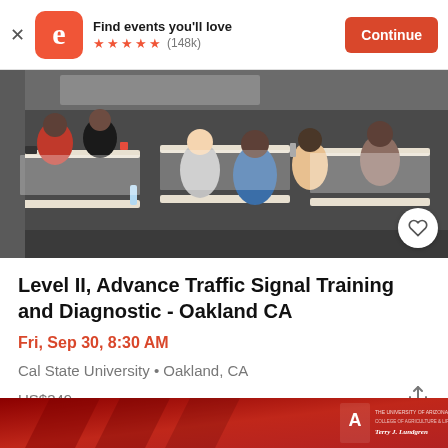Find events you'll love ★★★★★ (148k) Continue
[Figure (photo): People seated at tables in a conference room during a training event]
Level II, Advance Traffic Signal Training and Diagnostic - Oakland CA
Fri, Sep 30, 8:30 AM
Cal State University • Oakland, CA
US$349
[Figure (photo): Bottom teaser banner in red with University of Arizona logo and Terry J. Lundgren text]